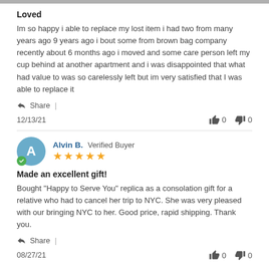Loved
Im so happy i able to replace my lost item i had two from many years ago 9 years ago i bout some from brown bag company recently about 6 months ago i moved and some care person left my cup behind at another apartment and i was disappointed that what had value to was so carelessly left but im very satisfied that I was able to replace it
Share | 12/13/21   👍 0  👎 0
Alvin B. Verified Buyer ★★★★★
Made an excellent gift!
Bought "Happy to Serve You" replica as a consolation gift for a relative who had to cancel her trip to NYC. She was very pleased with our bringing NYC to her. Good price, rapid shipping. Thank you.
Share | 08/27/21   👍 0  👎 0